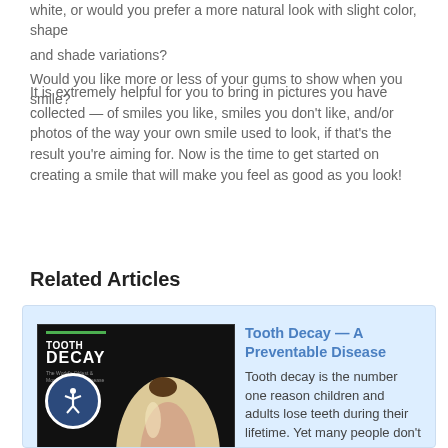white, or would you prefer a more natural look with slight color, shape and shade variations?
Would you like more or less of your gums to show when you smile?
It is extremely helpful for you to bring in pictures you have collected — of smiles you like, smiles you don't like, and/or photos of the way your own smile used to look, if that's the result you're aiming for. Now is the time to get started on creating a smile that will make you feel as good as you look!
Related Articles
[Figure (photo): Book cover image showing a cross-section illustration of a tooth with decay, titled 'Tooth Decay' on a dark background]
Tooth Decay — A Preventable Disease
Tooth decay is the number one reason children and adults lose teeth during their lifetime. Yet many people don't realize that it is a preventable infection. This article explores the causes of tooth decay, its prevention, and
article explores the causes of tooth decay, its prevention, and